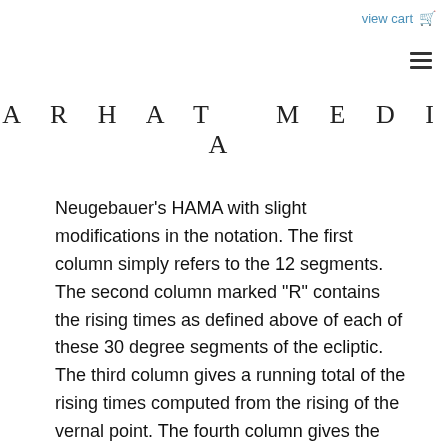view cart
ARHAT MEDIA
Neugebauer's HAMA with slight modifications in the notation. The first column simply refers to the 12 segments. The second column marked "R" contains the rising times as defined above of each of these 30 degree segments of the ecliptic. The third column gives a running total of the rising times computed from the rising of the vernal point. The fourth column gives the longitude in the zodiac in use (presumably a sidereal one) of the beginning of each 30 degree segment measured from the vernal point at 10 degrees of Aries. The fifth column gives the length of daylight that occurs when then Sun is in the particular degree. Note that when the Sun is at the vernal and